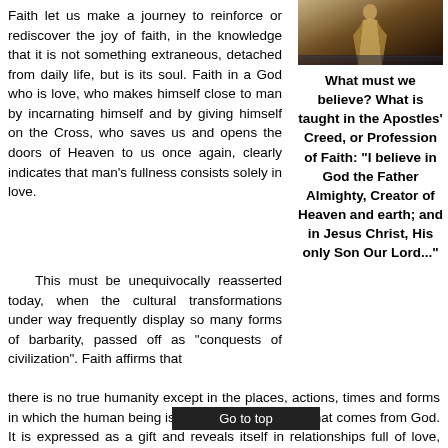Faith let us make a journey to reinforce or rediscover the joy of faith, in the knowledge that it is not something extraneous, detached from daily life, but is its soul. Faith in a God who is love, who makes himself close to man by incarnating himself and by giving himself on the Cross, who saves us and opens the doors of Heaven to us once again, clearly indicates that man's fullness consists solely in love.
[Figure (photo): A robed figure standing, silhouetted against a dark background, appearing to be a religious illustration or painting.]
What must we believe? What is taught in the Apostles' Creed, or Profession of Faith: “I believe in God the Father Almighty, Creator of Heaven and earth; and in Jesus Christ, His only Son Our Lord...”
This must be unequivocally reasserted today, when the cultural transformations under way frequently display so many forms of barbarity, passed off as “conquests of civilization”. Faith affirms that there is no true humanity except in the places, actions, times and forms in which the human being is motivated by the love that comes from God. It is expressed as a gift and reveals itself in relationships full of love, compassion, attention and disinterested service to others. Wherever there is domination, exploitation and the taking advantage of the other for... ns wherever there is